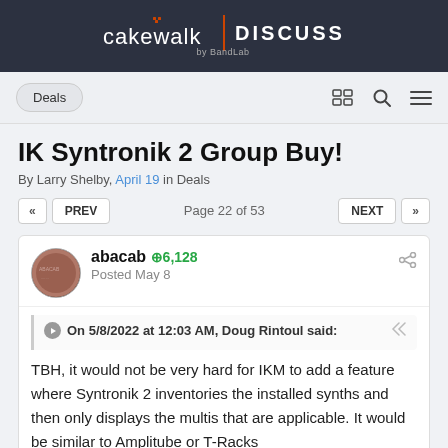cakewalk | DISCUSS by BandLab
IK Syntronik 2 Group Buy!
By Larry Shelby, April 19 in Deals
Page 22 of 53
abacab  +6,128
Posted May 8
On 5/8/2022 at 12:03 AM, Doug Rintoul said:
TBH, it would not be very hard for IKM to add a feature where Syntronik 2 inventories the installed synths and then only displays the multis that are applicable. It would be similar to Amplitube or T-Racks